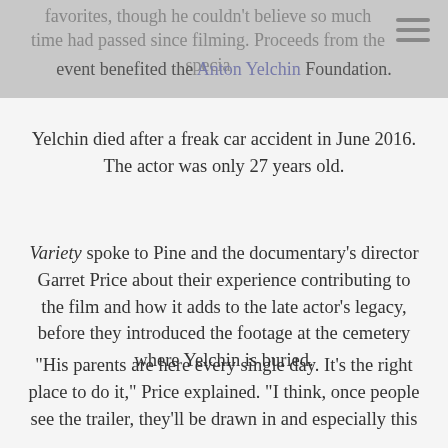favorites, though he couldn't believe so much time had passed since filming. Proceeds from the special event benefited the Anton Yelchin Foundation.
Yelchin died after a freak car accident in June 2016. The actor was only 27 years old.
Variety spoke to Pine and the documentary's director Garret Price about their experience contributing to the film and how it adds to the late actor's legacy, before they introduced the footage at the cemetery where Yelchin is buried.
“His parents are here every single day. It’s the right place to do it,” Price explained. “I think, once people see the trailer, they’ll be drawn in and especially this